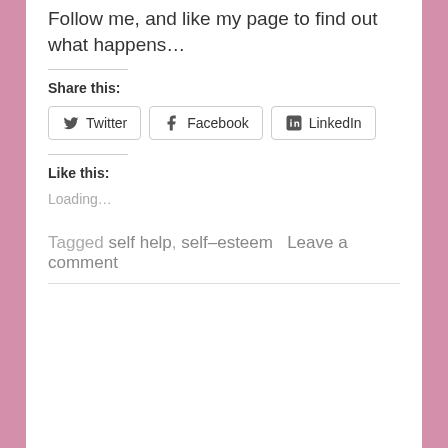Follow me, and like my page to find out what happens...
Share this:
Twitter  Facebook  LinkedIn
Like this:
Loading...
Tagged self help, self-esteem   Leave a comment